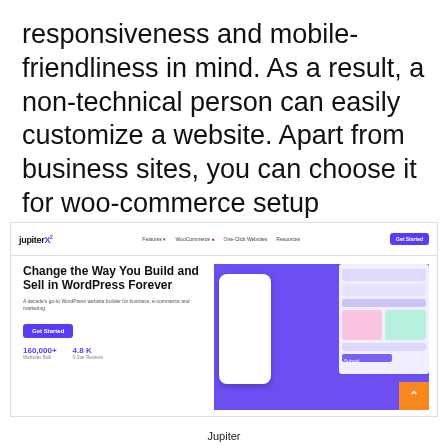responsiveness and mobile-friendliness in mind. As a result, a non-technical person can easily customize a website. Apart from business sites, you can choose it for woo-commerce setup because of its check-out option.
[Figure (screenshot): Screenshot of the Jupiter X WordPress theme website showing the navigation bar with logo, and a hero section with headline 'Change the Way You Build and Sell in WordPress Forever', subtitle text, Get Started button, stats (160,000+ Websites Built, 4.8K 5-Star Reviews), and a hero image with purple background showing 'DREAM & CREATE' text and device mockups.]
Jupiter